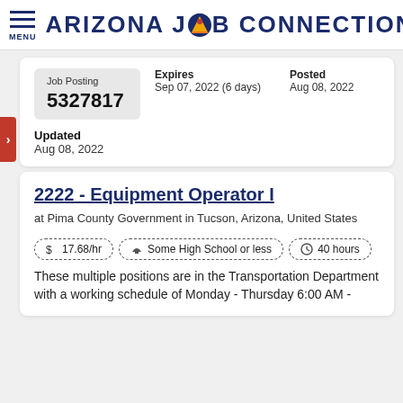ARIZONA JOB CONNECTION
|  | Expires | Posted |
| --- | --- | --- |
| Job Posting 5327817 | Sep 07, 2022 (6 days) | Aug 08, 2022 |
Updated
Aug 08, 2022
2222 - Equipment Operator I
at Pima County Government in Tucson, Arizona, United States
$ 17.68/hr   Some High School or less   40 hours
These multiple positions are in the Transportation Department with a working schedule of Monday - Thursday 6:00 AM -